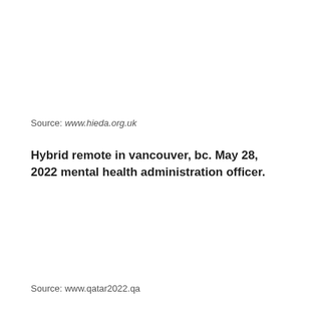Source: www.hieda.org.uk
Hybrid remote in vancouver, bc. May 28, 2022 mental health administration officer.
Source: www.qatar2022.qa